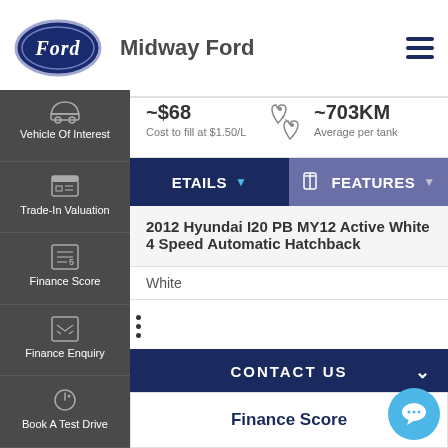[Figure (logo): Ford oval logo in dark navy blue with Ford script lettering in white]
Midway Ford
Vehicle Of Interest
Trade-In Valuation
Finance Score
Finance Enquiry
Book A Test Drive
~$68
Cost to fill at $1.50/L
~703KM
Average per tank
ETAILS
FEATURES
2012 Hyundai I20 PB MY12 Active White 4 Speed Automatic Hatchback
White
CONTACT US
Finance Score